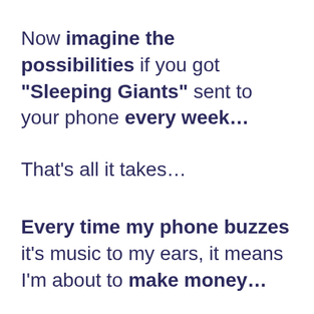Now imagine the possibilities if you got “Sleeping Giants” sent to your phone every week…
That’s all it takes…
Every time my phone buzzes it’s music to my ears, it means I’m about to make money…